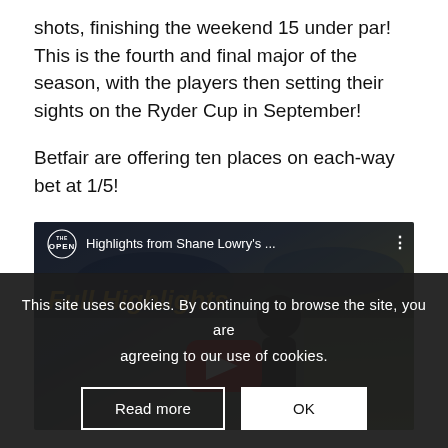shots, finishing the weekend 15 under par! This is the fourth and final major of the season, with the players then setting their sights on the Ryder Cup in September!
Betfair are offering ten places on each-way bet at 1/5!
[Figure (screenshot): YouTube video thumbnail showing 'Highlights from Shane Lowry's ...' with 'Full Highlights' title text in gold italic, The Open championship logo, and a YouTube play button. A man in dark clothing is visible in the background.]
This site uses cookies. By continuing to browse the site, you are agreeing to our use of cookies.